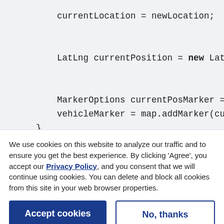[Figure (screenshot): Code block showing Java/Android code snippet with lines: 'currentLocation = newLocation;', 'LatLng currentPosition = new LatLng...', 'MarkerOptions currentPosMarker = c...', 'vehicleMarker = map.addMarker(curr...', closing braces]
We use cookies on this website to analyze our traffic and to ensure you get the best experience. By clicking 'Agree', you accept our Privacy Policy, and you consent that we will continue using cookies. You can delete and block all cookies from this site in your web browser properties.
Accept cookies
No, thanks